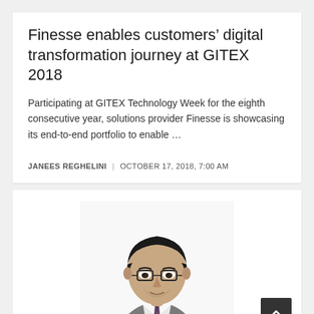Finesse enables customers’ digital transformation journey at GITEX 2018
Participating at GITEX Technology Week for the eighth consecutive year, solutions provider Finesse is showcasing its end-to-end portfolio to enable …
JANEES REGHELINI | OCTOBER 17, 2018, 7:00 AM
[Figure (photo): Portrait photo of a man in a grey suit and tie with glasses, against a white background]